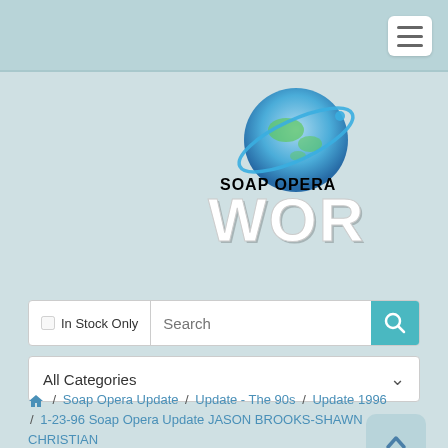[Figure (logo): Soap Opera World logo with globe graphic and large 'WORLD' text]
In Stock Only  Search
All Categories
🏠 / Soap Opera Update / Update - The 90s / Update 1996 / 1-23-96 Soap Opera Update JASON BROOKS-SHAWN CHRISTIAN
Log In | Register